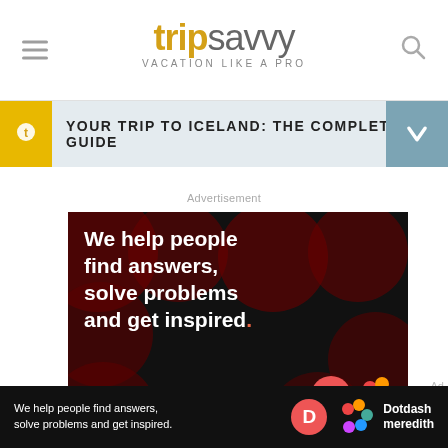tripsavvy — VACATION LIKE A PRO
YOUR TRIP TO ICELAND: THE COMPLETE GUIDE
Advertisement
[Figure (screenshot): Advertisement banner: black background with dark red circles pattern. Text reads: 'We help people find answers, solve problems and get inspired.' with a LEARN MORE call-to-action and Dotdash Meredith logos.]
[Figure (screenshot): Bottom sticky banner ad: black background with text 'We help people find answers, solve problems and get inspired.' and Dotdash Meredith branding.]